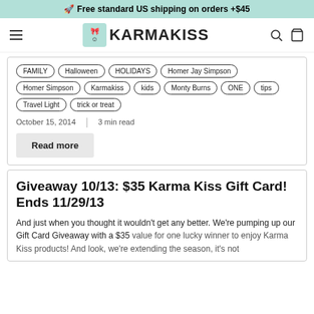🚀 Free standard US shipping on orders +$45
[Figure (logo): KarmaKiss logo with hamburger menu, search and cart icons]
FAMILY
Halloween
HOLIDAYS
Homer Jay Simpson
Homer Simpson
Karmakiss
kids
Monty Burns
ONE
tips
Travel Light
trick or treat
October 15, 2014  |  3 min read
Read more
Giveaway 10/13: $35 Karma Kiss Gift Card! Ends 11/29/13
And just when you thought it wouldn't get any better. We're pumping up our Gift Card Giveaway with a $35 value for one lucky winner to enjoy Karma Kiss products! And look, we're extending the season, it's not